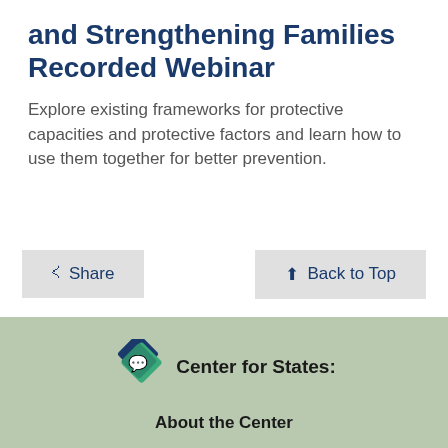and Strengthening Families Recorded Webinar
Explore existing frameworks for protective capacities and protective factors and learn how to use them together for better prevention.
Share
Back to Top
[Figure (logo): Center for States diamond-shaped logo with chat bubble icon, teal and dark blue colors]
Center for States:
About the Center
Resource Library
Topics